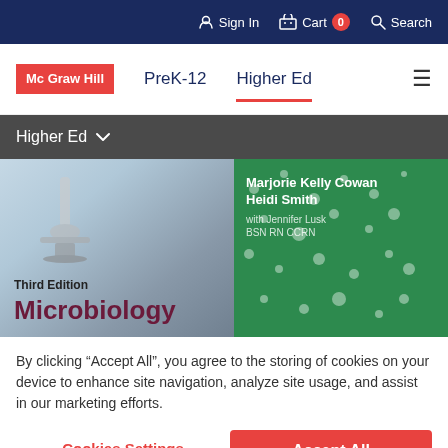Sign In   Cart 0   Search
[Figure (logo): McGraw Hill logo — red square with white text 'Mc Graw Hill']
PreK-12   Higher Ed
Higher Ed
[Figure (photo): Book cover for Microbiology Third Edition by Marjorie Kelly Cowan and Heidi Smith with Jennifer Lusk BSN RN CCRN. Left side shows a microscope on light blue background with 'Third Edition Microbiology' text. Right side shows a green petri dish with white colonies.]
By clicking “Accept All”, you agree to the storing of cookies on your device to enhance site navigation, analyze site usage, and assist in our marketing efforts.
Cookies Settings
Accept All